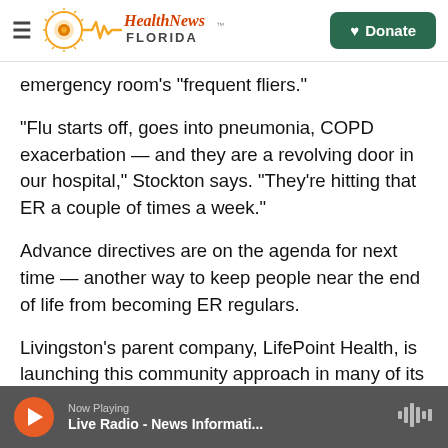Health News Florida | Donate
emergency room's "frequent fliers."
"Flu starts off, goes into pneumonia, COPD exacerbation — and they are a revolving door in our hospital," Stockton says. "They're hitting that ER a couple of times a week."
Advance directives are on the agenda for next time — another way to keep people near the end of life from becoming ER regulars.
Livingston's parent company, LifePoint Health, is launching this community approach in many of its
Now Playing — Live Radio - News Informati...